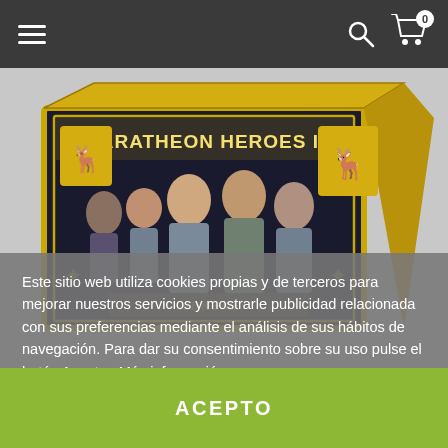≡   🔍  🛒 0
[Figure (photo): Board game box for 'Baratheon Heroes I' from A Song of Ice & Fire miniatures game. The box features a golden and black design with the Baratheon stag sigil and illustrated characters on the front panel.]
Este sitio web utiliza cookies propias y de terceros para mejorar nuestros servicios y mostrarle publicidad relacionada con sus preferencias mediante el análisis de sus hábitos de navegación. Para dar su consentimiento sobre su uso pulse el botón Acepto.  Más información
  Gestionar cookies
ACEPTO